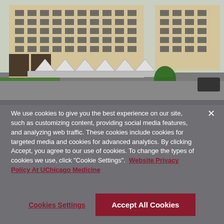[Figure (photo): Aerial/elevated view of a large multi-story hospital or medical office building with beige/tan facade, many windows, a covered entrance canopy with white pyramid-shaped roof elements, surrounding roads, green trees and lawn, and a parking area.]
We use cookies to give you the best experience on our site, such as customizing content, providing social media features, and analyzing web traffic. These cookies include cookies for targeted media and cookies for advanced analytics. By clicking Accept, you agree to our use of cookies. To change the types of cookies we use, click "Cookie Settings".  Website Privacy Policy At UChicago Medicine
Cookies Settings
Accept All Cookies